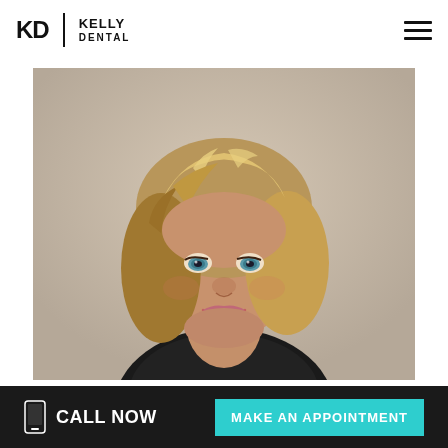KD | KELLY DENTAL
[Figure (photo): Professional headshot of a smiling woman with short blonde highlighted hair and blue eyes, wearing a dark top, against a neutral beige/gray background.]
CALL NOW
MAKE AN APPOINTMENT